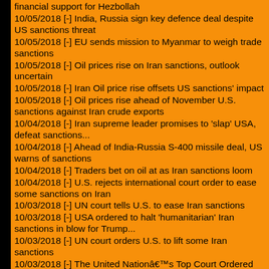financial support for Hezbollah
10/05/2018 [-] India, Russia sign key defence deal despite US sanctions threat
10/05/2018 [-] EU sends mission to Myanmar to weigh trade sanctions
10/05/2018 [-] Oil prices rise on Iran sanctions, outlook uncertain
10/05/2018 [-] Iran Oil price rise offsets US sanctions' impact
10/05/2018 [-] Oil prices rise ahead of November U.S. sanctions against Iran crude exports
10/04/2018 [-] Iran supreme leader promises to 'slap' USA, defeat sanctions...
10/04/2018 [-] Ahead of India-Russia S-400 missile deal, US warns of sanctions
10/04/2018 [-] Traders bet on oil at as Iran sanctions loom
10/04/2018 [-] U.S. rejects international court order to ease some sanctions on Iran
10/03/2018 [-] UN court tells U.S. to ease Iran sanctions
10/03/2018 [-] USA ordered to halt 'humanitarian' Iran sanctions in blow for Trump...
10/03/2018 [-] UN court orders U.S. to lift some Iran sanctions
10/03/2018 [-] The United Nationâs Top Court Ordered the Trump Administration to Lift Sanctions on Iran
10/03/2018 [-] Oil rises toward four-year high as Iran sanctions loom
10/03/2018 [-] World Court to rule on Iran plea to lift U.S. sanctions
10/02/2018 [-] Sydney aged care home sanctioned after assault allegations
10/02/2018 [-] U.S. oil hits four-year peak ahead of sanctions on Iran
10/01/2018 [-] Oil rises to 2014 highs on Iran Sanctions, NAFTA deal